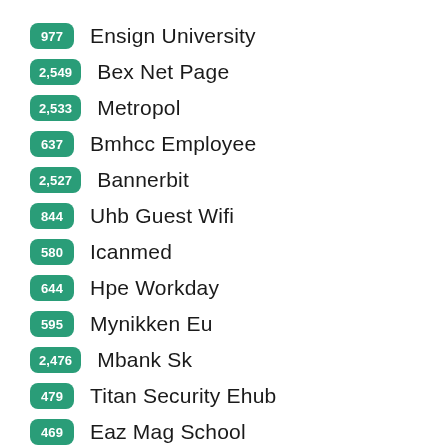977 Ensign University
2,549 Bex Net Page
2,533 Metropol
637 Bmhcc Employee
2,527 Bannerbit
844 Uhb Guest Wifi
580 Icanmed
644 Hpe Workday
595 Mynikken Eu
2,476 Mbank Sk
479 Titan Security Ehub
469 Eaz Mag School
454 Shikkhok Batayon